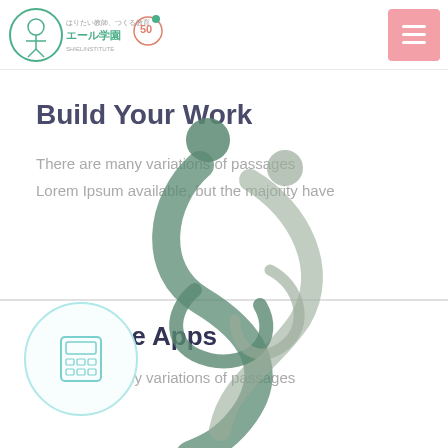[Figure (logo): エール学園 50th anniversary logo with circular mascot icon and Japanese text]
Build Your Work
There are many variations of passages
Lorem Ipsum available, but the majority have
[Figure (illustration): Decorative abstract figure of two intertwined ribbon/person shapes in sage green, overlapping circles on top]
[Figure (illustration): Calculator icon inside a light teal circular border]
Integrate Apps
There are many variations of passages